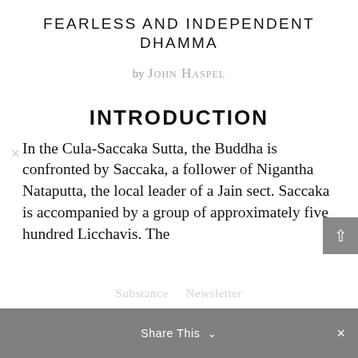FEARLESS AND INDEPENDENT DHAMMA
by John Haspel
INTRODUCTION
In the Cula-Saccaka Sutta, the Buddha is confronted by Saccaka, a follower of Nigantha Nataputta, the local leader of a Jain sect. Saccaka is accompanied by a group of approximately five hundred Licchavis. The